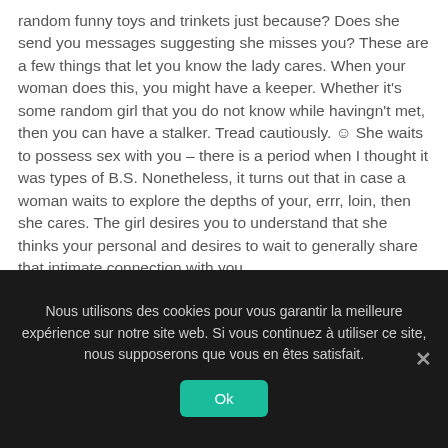random funny toys and trinkets just because? Does she send you messages suggesting she misses you? These are a few things that let you know the lady cares. When your woman does this, you might have a keeper. Whether it's some random girl that you do not know while havingn't met, then you can have a stalker. Tread cautiously. ☺ She waits to possess sex with you – there is a period when I thought it was types of B.S. Nonetheless, it turns out that in case a woman waits to explore the depths of your, errr, loin, then she cares. The girl desires you to understand that she thinks your personal and desires to wait to generally share that intimate connection with you.
Nous utilisons des cookies pour vous garantir la meilleure expérience sur notre site web. Si vous continuez à utiliser ce site, nous supposerons que vous en êtes satisfait.